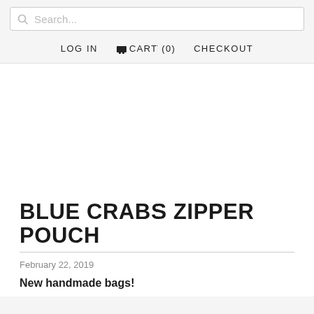Search...
LOG IN   CART (0)   CHECKOUT
BLUE CRABS ZIPPER POUCH
February 22, 2019
New handmade bags!